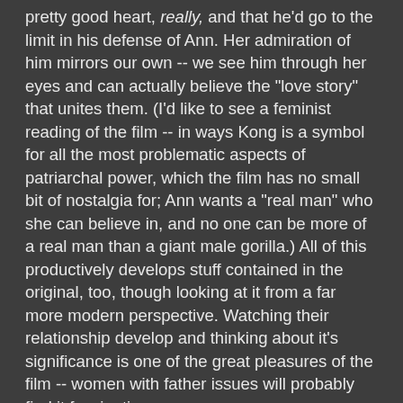pretty good heart, really, and that he'd go to the limit in his defense of Ann. Her admiration of him mirrors our own -- we see him through her eyes and can actually believe the "love story" that unites them. (I'd like to see a feminist reading of the film -- in ways Kong is a symbol for all the most problematic aspects of patriarchal power, which the film has no small bit of nostalgia for; Ann wants a "real man" who she can believe in, and no one can be more of a real man than a giant male gorilla.) All of this productively develops stuff contained in the original, too, though looking at it from a far more modern perspective. Watching their relationship develop and thinking about it's significance is one of the great pleasures of the film -- women with father issues will probably find it fascinating.
3. Though they're parenthetical to the main drive of the film, the Heart of Darkness references resonate disturbingly with the fact that the (black) "savages" are played as brutal and evil-looking to the point of being demons, and it's strange that a black man is given the job of interpreting Conrad as he applies to the film -- a black man whose, um, narrative is resolved in a way that isn't quite satisfying, as if the film isn't